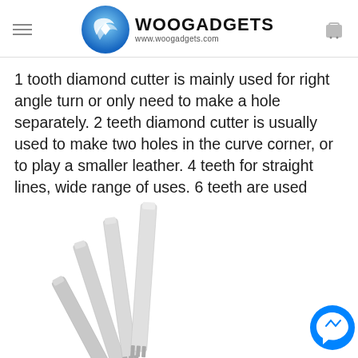WOOGADGETS www.woogadgets.com
1 tooth diamond cutter is mainly used for right angle turn or only need to make a hole separately. 2 teeth diamond cutter is usually used to make two holes in the curve corner, or to play a smaller leather. 4 teeth for straight lines, wide range of uses. 6 teeth are used when playing a long straight line, you can play 6 holes at one time, the efficiency is high.
[Figure (photo): Multiple silver metallic diamond leather hole punch tools fanned out on white background]